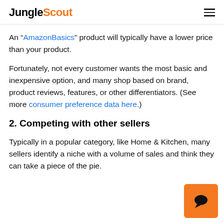JungleScout
An “AmazonBasics” product will typically have a lower price than your product.
Fortunately, not every customer wants the most basic and inexpensive option, and many shop based on brand, product reviews, features, or other differentiators. (See more consumer preference data here.)
2. Competing with other sellers
Typically in a popular category, like Home & Kitchen, many sellers identify a niche with a volume of sales and think they can take a piece of the pie.